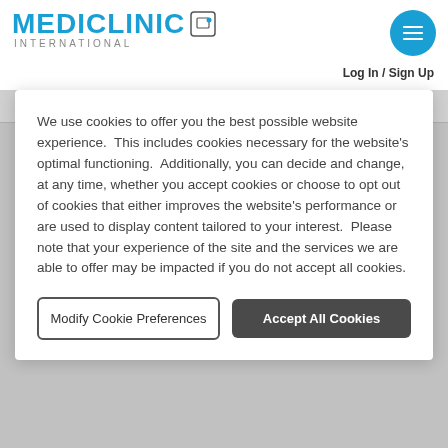[Figure (logo): Mediclinic International logo with blue text and small icon, plus circular blue menu button]
Log In / Sign Up
Mediclinic Sandton
We use cookies to offer you the best possible website experience.  This includes cookies necessary for the website's optimal functioning.  Additionally, you can decide and change, at any time, whether you accept cookies or choose to opt out of cookies that either improves the website's performance or are used to display content tailored to your interest.  Please note that your experience of the site and the services we are able to offer may be impacted if you do not accept all cookies.
Modify Cookie Preferences
Accept All Cookies